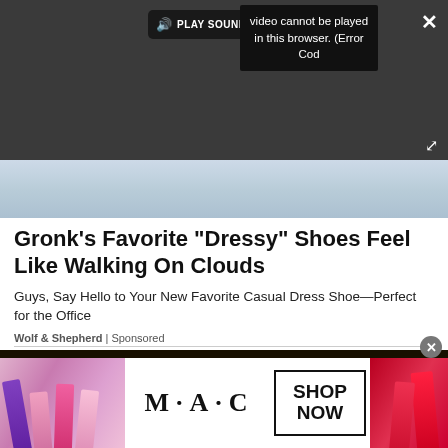[Figure (screenshot): Dark video player area with error message overlay: 'Video cannot be played in this browser. (Error Cod' and a yellow bus icon. Play Sound button with speaker icon visible. Close (X) button top right. Expand arrows bottom right.]
[Figure (photo): Light blue/gray textured background bar beneath the video player.]
Gronk's Favorite "Dressy" Shoes Feel Like Walking On Clouds
Guys, Say Hello to Your New Favorite Casual Dress Shoe—Perfect for the Office
Wolf & Shepherd | Sponsored
[Figure (photo): Dark background with black star shapes on the left portion, partial image of another content block.]
[Figure (advertisement): MAC cosmetics advertisement banner with lipsticks in purple, pink, and red on a white background, MAC logo in center, 'SHOP NOW' box.]